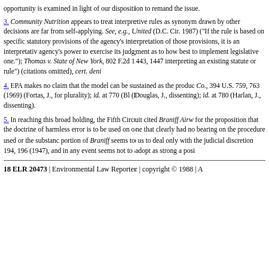opportunity is examined in light of our disposition to remand the issue.
3. Community Nutrition appears to treat interpretive rules as synonymous with legislative rules; the lines drawn by other decisions are far from self-applying. See, e.g., United ... (D.C. Cir. 1987) ("If the rule is based on specific statutory provisions and if it is based on the agency's interpretation of those provisions, it is an interpretative rule rather than a legislative one, because it does not go beyond the agency's power to exercise its judgment as to how best to implement the statute, but simply declares what the agency believe the statute itself requires—as opposed to a legislative one."); Thomas v. State of New York, 802 F.2d 1443, 1447 ... interpreting an existing statute or rule") (citations omitted), cert. deni...
4. EPA makes no claim that the model can be sustained as the product of informal adjudication. See ... Co., 394 U.S. 759, 763 (1969) (Fortas, J., for plurality); id. at 770 (Bl... (Douglas, J., dissenting); id. at 780 (Harlan, J., dissenting).
5. In reaching this broad holding, the Fifth Circuit cited Braniff Airw... for the proposition that the doctrine of harmless error is to be used only when an agency commits an error one that clearly had no bearing on the procedure used or the substance of the decision reached. The cited portion of Braniff seems to us to deal only with the judicial discretion... 194, 196 (1947), and in any event seems not to adopt as strong a posi...
18 ELR 20473 | Environmental Law Reporter | copyright © 1988 | A